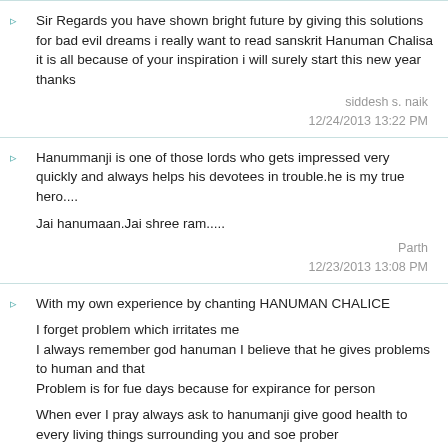Sir Regards you have shown bright future by giving this solutions for bad evil dreams i really want to read sanskrit Hanuman Chalisa it is all because of your inspiration i will surely start this new year thanks
siddesh s. naik
12/24/2013 13:22 PM
Hanummanji is one of those lords who gets impressed very quickly and always helps his devotees in trouble.he is my true hero....

Jai hanumaan.Jai shree ram.....
Parth
12/23/2013 13:08 PM
With my own experience by chanting HANUMAN CHALICE

I forget problem which irritates me
I always remember god hanuman I believe that he gives problems to human and that
Problem is for fue days because for expirance for person

When ever I pray always ask to hanumanji give good health to every living things surrounding you and soe prober
In my life I never ignore
1 parents
2 god